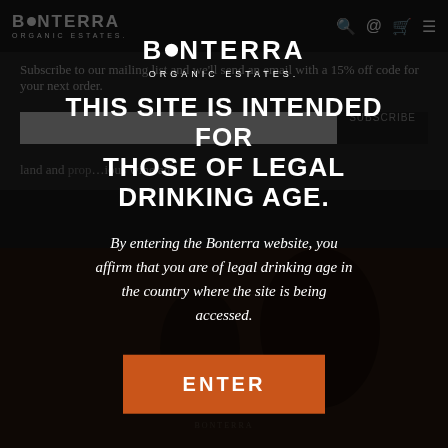BONTERRA ORGANIC ESTATES.
Subscribe to our mailing list and we'll send an email with a 15% off code for your next order.
land and … ious wine and a…
[Figure (screenshot): Bonterra Organic Estates age verification modal overlay on website]
THIS SITE IS INTENDED FOR THOSE OF LEGAL DRINKING AGE.
By entering the Bonterra website, you affirm that you are of legal drinking age in the country where the site is being accessed.
ENTER